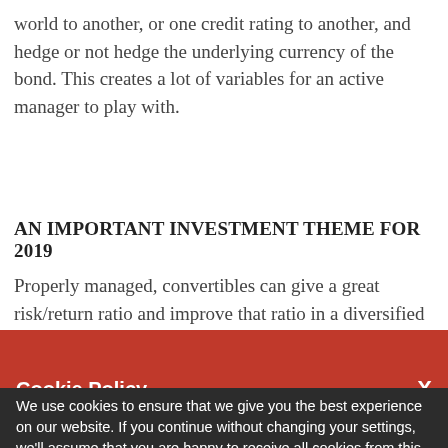world to another, or one credit rating to another, and hedge or not hedge the underlying currency of the bond. This creates a lot of variables for an active manager to play with.
AN IMPORTANT INVESTMENT THEME FOR 2019
Properly managed, convertibles can give a great risk/return ratio and improve that ratio in a diversified
Cookie Policy  X
We use cookies to ensure that we give you the best experience on our website. If you continue without changing your settings, we'll assume that you are happy to receive all cookies from this website. If you would like to change your preferences you may do so by following the instructions here.
take advantage of convertible bond is in maintaining